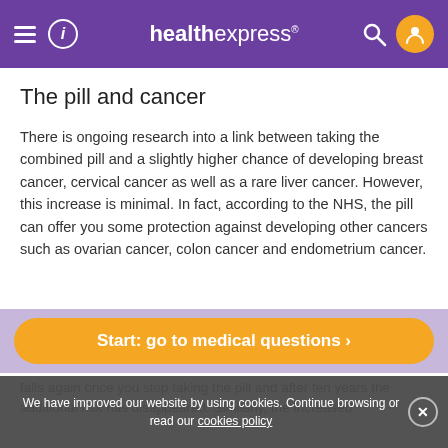healthexpress
The pill and cancer
There is ongoing research into a link between taking the combined pill and a slightly higher chance of developing breast cancer, cervical cancer as well as a rare liver cancer. However, this increase is minimal. In fact, according to the NHS, the pill can offer you some protection against developing other cancers such as ovarian cancer, colon cancer and endometrium cancer.
Cancer Research UK reported how short-term use seems to have little effect, but if taking the combined pill for five years
Start: go to medical questions ›
falls again once you stop taking the pill and after ten years the additional risk has disappeared. Similarly, the increased
We have improved our website by using cookies. Continue browsing or read our cookies policy